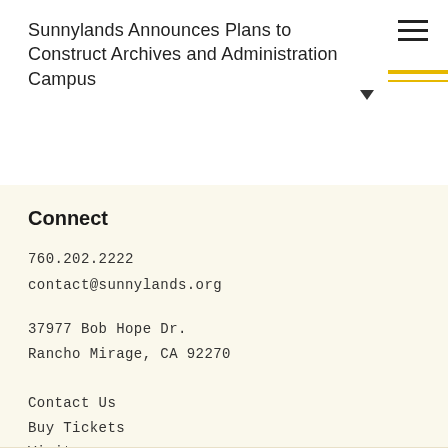Sunnylands Announces Plans to Construct Archives and Administration Campus
Connect
760.202.2222
contact@sunnylands.org

37977 Bob Hope Dr.
Rancho Mirage, CA 92270
Contact Us
Buy Tickets
Visit
Events
Gift Shop